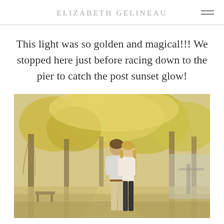ELIZABETH GELINEAU
This light was so golden and magical!!! We stopped here just before racing down to the pier to catch the post sunset glow!
[Figure (photo): A couple walking together on a path in a park with golden autumn foliage trees in the background and a pier visible on the right. The man is wearing light colored pants and shirt, the woman in a white top and dark pants. Warm golden hour light fills the scene.]